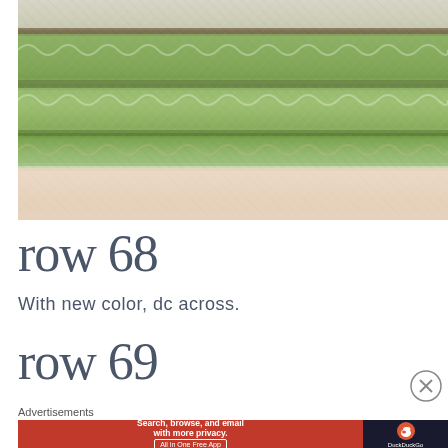[Figure (photo): Close-up photo of crochet stitches showing rows of green, olive, and cream/beige yarn in a textured stitch pattern]
row 68
With new color, dc across.
row 69
Advertisements
[Figure (screenshot): DuckDuckGo advertisement banner: Search, browse, and email with more privacy. All in One Free App]